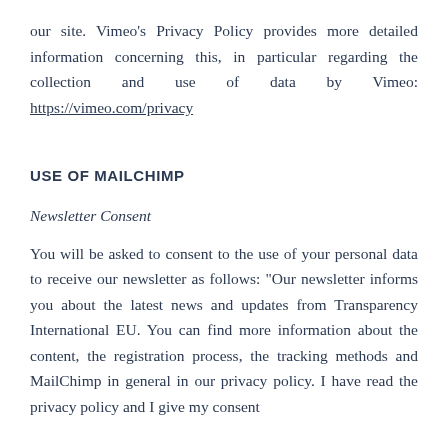our site. Vimeo's Privacy Policy provides more detailed information concerning this, in particular regarding the collection and use of data by Vimeo: https://vimeo.com/privacy
USE OF MAILCHIMP
Newsletter Consent
You will be asked to consent to the use of your personal data to receive our newsletter as follows: "Our newsletter informs you about the latest news and updates from Transparency International EU. You can find more information about the content, the registration process, the tracking methods and MailChimp in general in our privacy policy. I have read the privacy policy and I give my consent